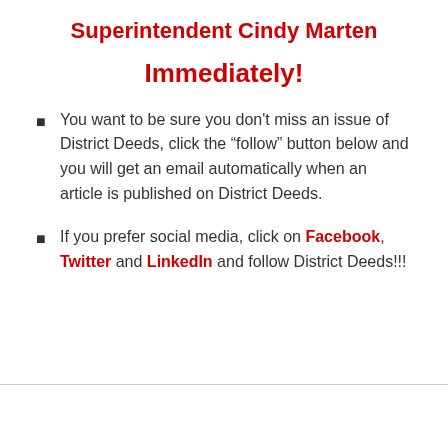Superintendent Cindy Marten

Immediately!
You want to be sure you don't miss an issue of District Deeds, click the “follow” button below and you will get an email automatically when an article is published on District Deeds.
If you prefer social media, click on Facebook, Twitter and LinkedIn and follow District Deeds!!!